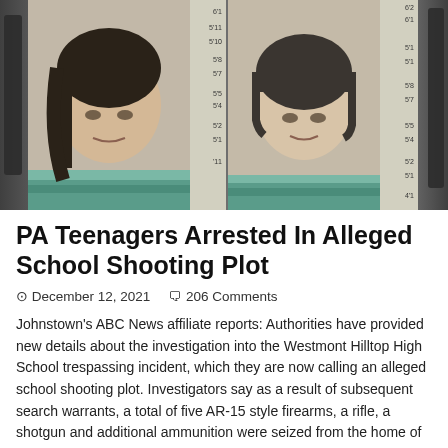[Figure (photo): Two mugshot photos of teenagers side by side against a height ruler background, with dark background and partial gun images on the sides]
PA Teenagers Arrested In Alleged School Shooting Plot
December 12, 2021   206 Comments
Johnstown's ABC News affiliate reports: Authorities have provided new details about the investigation into the Westmont Hilltop High School trespassing incident, which they are now calling an alleged school shooting plot. Investigators say as a result of subsequent search warrants, a total of five AR-15 style firearms, a rifle, a shotgun and additional ammunition were seized from the home of …